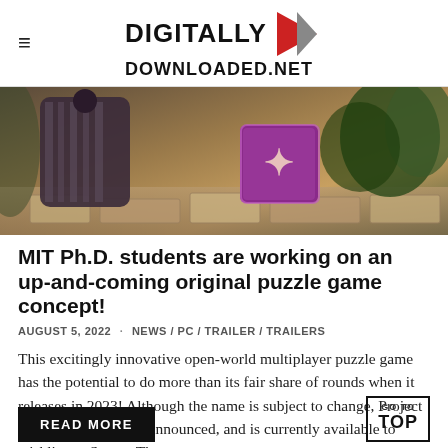DIGITALLY DOWNLOADED.net
[Figure (photo): Game screenshot showing a figure in a long dark striped cloak/robe standing near a colorful purple decorative cube with rune-like symbols, set on a stone path with foliage in the background.]
MIT Ph.D. students are working on an up-and-coming original puzzle game concept!
AUGUST 5, 2022  ·  NEWS / PC / TRAILER / TRAILERS
This excitingly innovative open-world multiplayer puzzle game has the potential to do more than its fair share of rounds when it releases in 2023! Although the name is subject to change, Project S has been officially announced, and is currently available to wishlist on Steam. The announcement comes as a...
READ MORE
GO TO TOP